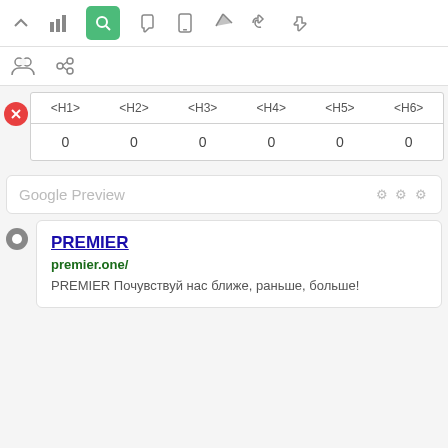[Figure (screenshot): Toolbar row 1 with icons: chevron up, bar chart, search (active/green), hand pointer, mobile, send, thumbs up]
[Figure (screenshot): Toolbar row 2 with icons: group/people, link/chain]
| <H1> | <H2> | <H3> | <H4> | <H5> | <H6> |
| --- | --- | --- | --- | --- | --- |
| 0 | 0 | 0 | 0 | 0 | 0 |
Google Preview
PREMIER
premier.one/
PREMIER Почувствуй нас ближе, раньше, больше!